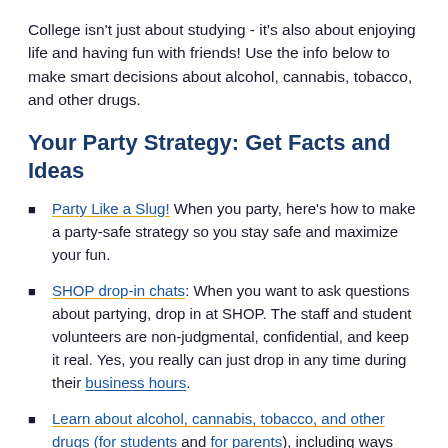College isn't just about studying - it's also about enjoying life and having fun with friends! Use the info below to make smart decisions about alcohol, cannabis, tobacco, and other drugs.
Your Party Strategy: Get Facts and Ideas
Party Like a Slug! When you party, here's how to make a party-safe strategy so you stay safe and maximize your fun.
SHOP drop-in chats: When you want to ask questions about partying, drop in at SHOP. The staff and student volunteers are non-judgmental, confidential, and keep it real. Yes, you really can just drop in any time during their business hours.
Learn about alcohol, cannabis, tobacco, and other drugs (for students and for parents), including ways